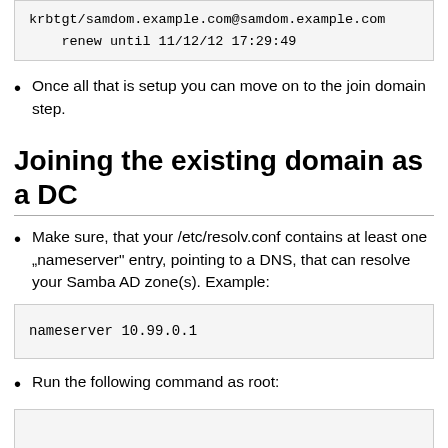[Figure (screenshot): Code block showing: krbtgt/samdom.example.com@samdom.example.com renew until 11/12/12 17:29:49]
Once all that is setup you can move on to the join domain step.
Joining the existing domain as a DC
Make sure, that your /etc/resolv.conf contains at least one „nameserver“ entry, pointing to a DNS, that can resolve your Samba AD zone(s). Example:
[Figure (screenshot): Code block showing: nameserver 10.99.0.1]
Run the following command as root:
[Figure (screenshot): Code block (partially visible, cut off at bottom)]